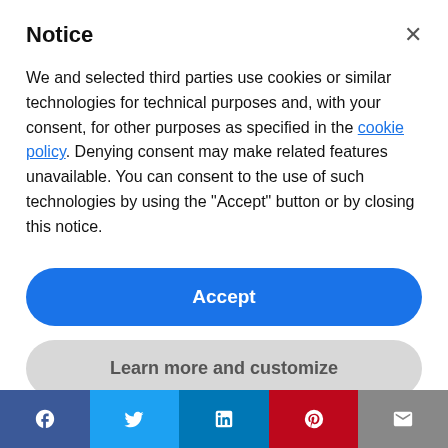Notice
We and selected third parties use cookies or similar technologies for technical purposes and, with your consent, for other purposes as specified in the cookie policy. Denying consent may make related features unavailable. You can consent to the use of such technologies by using the "Accept" button or by closing this notice.
Accept
Learn more and customize
tuns out that it is her mother who is possessed.
The story... THIS WAY TO EGRESS directed b...